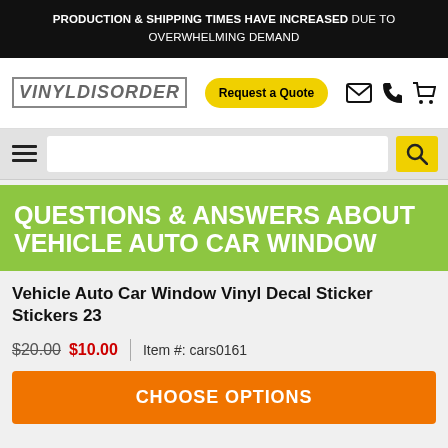PRODUCTION & SHIPPING TIMES HAVE INCREASED DUE TO OVERWHELMING DEMAND
[Figure (logo): VinylDisorder logo in stylized gothic font with border]
Request a Quote
QUESTIONS & ANSWERS ABOUT VEHICLE AUTO CAR WINDOW
Vehicle Auto Car Window Vinyl Decal Sticker Stickers 23
$20.00  $10.00  |  Item #: cars0161
CHOOSE OPTIONS